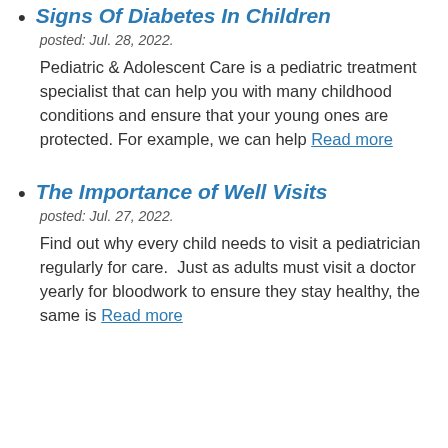Signs Of Diabetes In Children
posted: Jul. 28, 2022.
Pediatric & Adolescent Care is a pediatric treatment specialist that can help you with many childhood conditions and ensure that your young ones are protected. For example, we can help Read more
The Importance of Well Visits
posted: Jul. 27, 2022.
Find out why every child needs to visit a pediatrician regularly for care.  Just as adults must visit a doctor yearly for bloodwork to ensure they stay healthy, the same is Read more